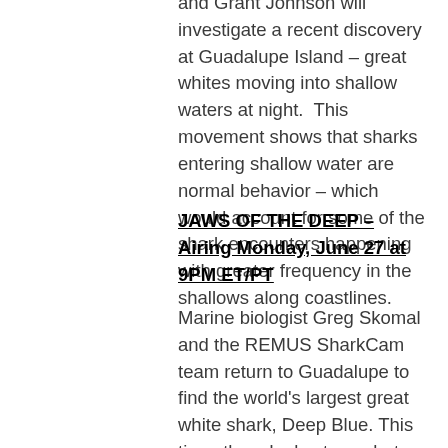and Grant Johnson will investigate a recent discovery at Guadalupe Island – great whites moving into shallow waters at night.  This movement shows that sharks entering shallow water are normal behavior – which would account for some of the shark encounters happening with greater frequency in the shallows along coastlines.
JAWS OF THE DEEP – Airing Monday, June 27 at 9PM ET/PT
Marine biologist Greg Skomal and the REMUS SharkCam team return to Guadalupe to find the world's largest great white shark, Deep Blue. This time, they deploy two robot subs: one that dives to 300 feet, and another that goes to 2000.  Together, they build a profile of how the great white uses the entire water